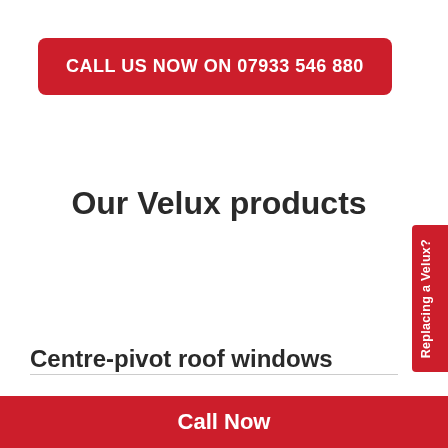CALL US NOW ON 07933 546 880
Our Velux products
[Figure (other): Red vertical side tab with rotated text 'Replacing a Velux?']
Centre-pivot roof windows
Call Now